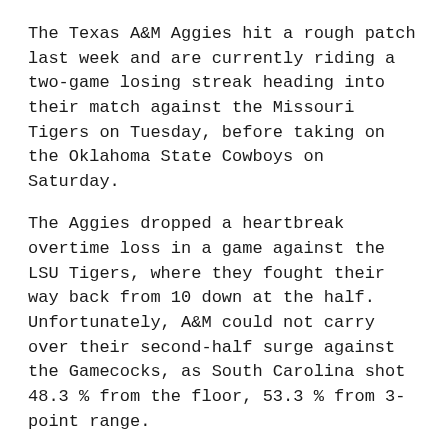The Texas A&M Aggies hit a rough patch last week and are currently riding a two-game losing streak heading into their match against the Missouri Tigers on Tuesday, before taking on the Oklahoma State Cowboys on Saturday.
The Aggies dropped a heartbreak overtime loss in a game against the LSU Tigers, where they fought their way back from 10 down at the half. Unfortunately, A&M could not carry over their second-half surge against the Gamecocks, as South Carolina shot 48.3 % from the floor, 53.3 % from 3-point range.
Senior forward Josh Nebo led the Aggies in scoring both games averaging 19.0 points and 2.5 blocks per game.